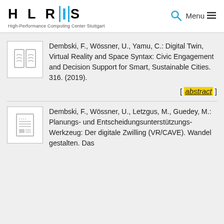[Figure (logo): HLRIS logo with blue vertical bar I, High-Performance Computing Center Stuttgart subtitle]
Dembski, F., Wössner, U., Yamu, C.: Digital Twin, Virtual Reality and Space Syntax: Civic Engagement and Decision Support for Smart, Sustainable Cities. 316. (2019).
[ abstract ]
Dembski, F., Wössner, U., Letzgus, M., Guedey, M.: Planungs- und Entscheidungsunterstützungs-Werkzeug: Der digitale Zwilling (VR/CAVE). Wandel gestalten. Das